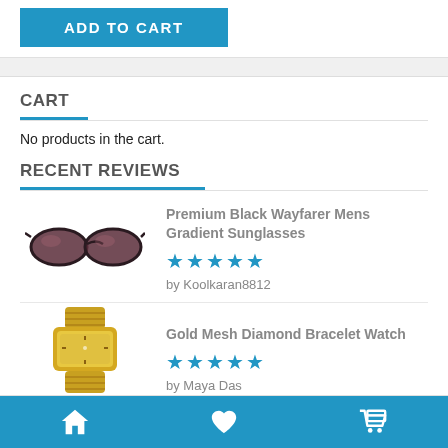ADD TO CART
CART
No products in the cart.
RECENT REVIEWS
[Figure (photo): Photo of black wayfarer sunglasses with gradient lenses]
Premium Black Wayfarer Mens Gradient Sunglasses
★★★★★
by Koolkaran8812
[Figure (photo): Photo of a gold mesh diamond bracelet watch]
Gold Mesh Diamond Bracelet Watch
★★★★★
by Maya Das
Home | Favorites | Cart